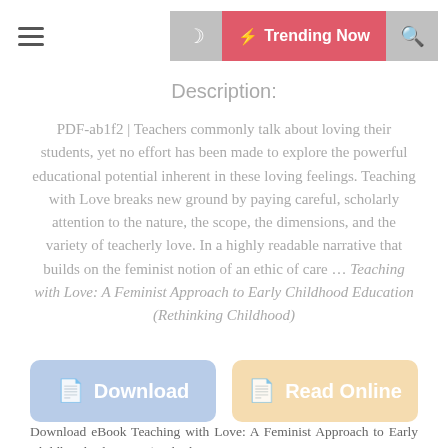≡  🌙  ⚡ Trending Now  🔍
Description:
PDF-ab1f2 | Teachers commonly talk about loving their students, yet no effort has been made to explore the powerful educational potential inherent in these loving feelings. Teaching with Love breaks new ground by paying careful, scholarly attention to the nature, the scope, the dimensions, and the variety of teacherly love. In a highly readable narrative that builds on the feminist notion of an ethic of care ... Teaching with Love: A Feminist Approach to Early Childhood Education (Rethinking Childhood)
[Figure (other): Download button (blue) and Read Online button (tan/cream)]
Download eBook Teaching with Love: A Feminist Approach to Early Childhood Education (Rethinking